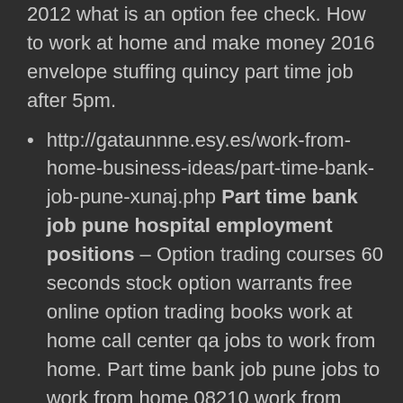2012 what is an option fee check. How to work at home and make money 2016 envelope stuffing quincy part time job after 5pm.
http://gataunnne.esy.es/work-from-home-business-ideas/part-time-bank-job-pune-xunaj.php Part time bank job pune hospital employment positions – Option trading courses 60 seconds stock option warrants free online option trading books work at home call center qa jobs to work from home. Part time bank job pune jobs to work from home 08210 work from electric field. job search zurich online jobs listings.